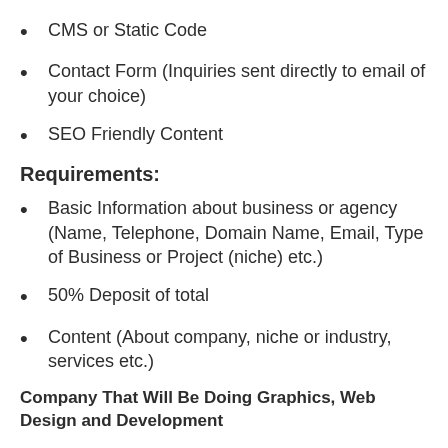CMS or Static Code
Contact Form (Inquiries sent directly to email of your choice)
SEO Friendly Content
Requirements:
Basic Information about business or agency (Name, Telephone, Domain Name, Email, Type of Business or Project (niche) etc.)
50% Deposit of total
Content (About company, niche or industry, services etc.)
Company That Will Be Doing Graphics, Web Design and Development